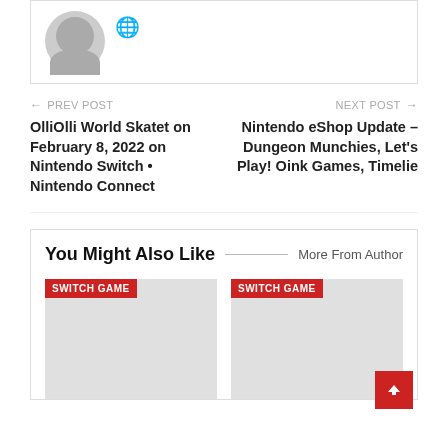[Figure (illustration): User avatar silhouette (grey circle with grey person shape) with a small globe/world icon to the right]
← PREV POST
OlliOlli World Skatet on February 8, 2022 on Nintendo Switch • Nintendo Connect
NEXT POST →
Nintendo eShop Update – Dungeon Munchies, Let's Play! Oink Games, Timelie
You Might Also Like
More From Author
[Figure (illustration): Card placeholder with SWITCH GAME red tag label, grey image area]
[Figure (illustration): Card placeholder with SWITCH GAME red tag label, grey image area]